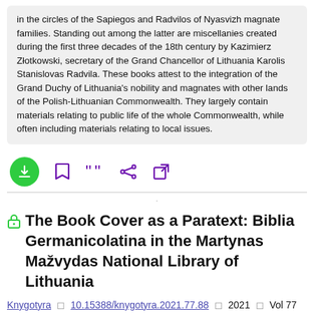in the circles of the Sapiegos and Radvilos of Nyasvizh magnate families. Standing out among the latter are miscellanies created during the first three decades of the 18th century by Kazimierz Złotkowski, secretary of the Grand Chancellor of Lithuania Karolis Stanislovas Radvila. These books attest to the integration of the Grand Duchy of Lithuania's nobility and magnates with other lands of the Polish-Lithuanian Commonwealth. They largely contain materials relating to public life of the whole Commonwealth, while often including materials relating to local issues.
[Figure (other): Toolbar with download button (green circle with down arrow), bookmark icon, quote icon, share icon, and external link icon — all in purple.]
The Book Cover as a Paratext: Biblia Germanicolatina in the Martynas Mažvydas National Library of Lithuania
Knygotyra □ 10.15388/knygotyra.2021.77.88 □ 2021 □ Vol 77 □ pp. 7-19